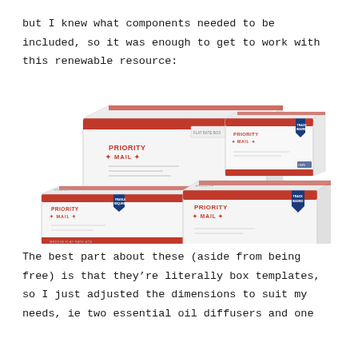but I knew what components needed to be included, so it was enough to get to work with this renewable resource:
[Figure (photo): Three USPS Priority Mail flat-rate boxes of different sizes arranged together, showing the Priority Mail branding with red stripes and blue FRAGILE/INSURED sticker badges.]
The best part about these (aside from being free) is that they're literally box templates, so I just adjusted the dimensions to suit my needs, ie two essential oil diffusers and one